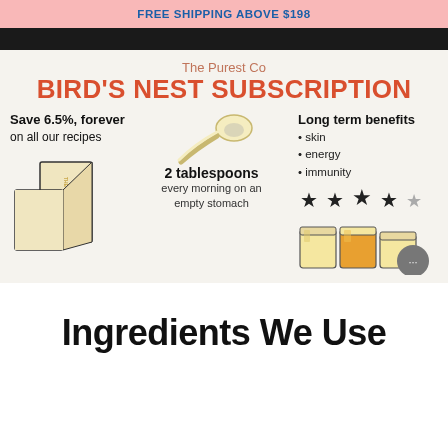FREE SHIPPING ABOVE $198
The Purest Co
BIRD'S NEST SUBSCRIPTION
Save 6.5%, forever on all our recipes
[Figure (infographic): Illustration of product boxes labeled THE PUREST CO, a spoon, and jars of bird's nest product with 4-star rating overlay and chat button]
2 tablespoons every morning on an empty stomach
Long term benefits
• skin
• energy
• immunity
Ingredients We Use